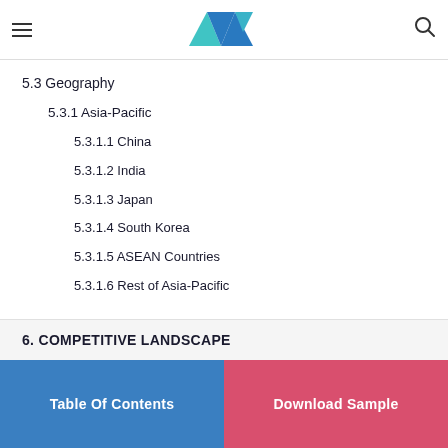Navigation bar with logo and search icon
5.3 Geography
5.3.1 Asia-Pacific
5.3.1.1 China
5.3.1.2 India
5.3.1.3 Japan
5.3.1.4 South Korea
5.3.1.5 ASEAN Countries
5.3.1.6 Rest of Asia-Pacific
6. COMPETITIVE LANDSCAPE
Table Of Contents | Download Sample